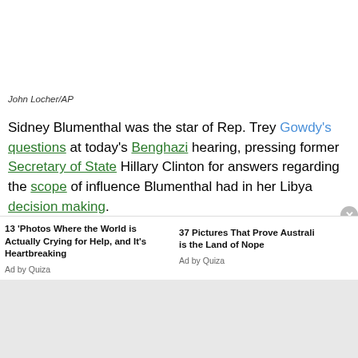John Locher/AP
Sidney Blumenthal was the star of Rep. Trey Gowdy's questions at today's Benghazi hearing, pressing former Secretary of State Hillary Clinton for answers regarding the scope of influence Blumenthal had in her Libya decision making.
Blumenthal goes way back with Hillary, helping her promulgate
13 'Photos Where the World is Actually Crying for Help, and It's Heartbreaking — Ad by Quiza
37 Pictures That Prove Australia is the Land of Nope — Ad by Quiza